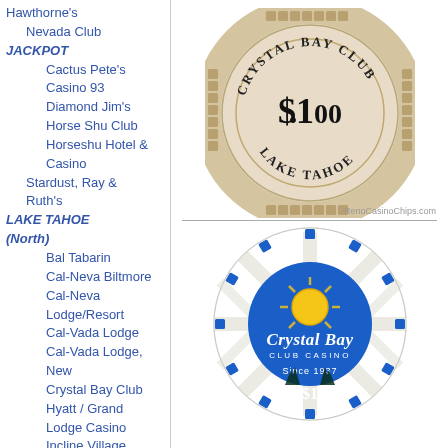Hawthorne's
Nevada Club
JACKPOT
Cactus Pete's
Casino 93
Diamond Jim's
Horse Shu Club
Horseshu Hotel & Casino
Stardust, Ray & Ruth's
LAKE TAHOE (North)
Bal Tabarin
Cal-Neva Biltmore
Cal-Neva Lodge/Resort
Cal-Vada Lodge
Cal-Vada Lodge, New
Crystal Bay Club
Hyatt / Grand Lodge Casino
Incline Village
Kings Castle
Monte Carlo
Nevada Lodge
North Shore Club
Nugget, Jim Kelley's
[Figure (photo): Crystal Bay Club $1.00 casino chip, beige/tan color with Greek key border pattern, text reads CRYSTAL BAY CLUB $1.00 LAKE TAHOE. Watermark: RenoCasinoChips.com]
[Figure (photo): Crystal Bay Club Casino $1 casino chip, white with blue inlaid diamonds, center shows blue Crystal Bay Club Casino logo with sun design, Since 1937]